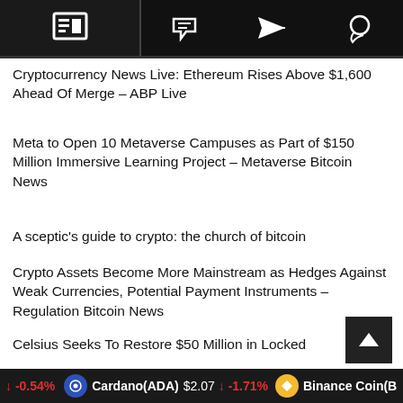[Navigation bar with news, tag, and chat icons]
Cryptocurrency News Live: Ethereum Rises Above $1,600 Ahead Of Merge – ABP Live
Meta to Open 10 Metaverse Campuses as Part of $150 Million Immersive Learning Project – Metaverse Bitcoin News
A sceptic's guide to crypto: the church of bitcoin
Crypto Assets Become More Mainstream as Hedges Against Weak Currencies, Potential Payment Instruments – Regulation Bitcoin News
Top Cryptocurrency News on September 6: Bitcoin above Rs 16 lakh, Bitget surpasses FTX in derivatives... – Moneycontrol
Celsius Seeks To Restore $50 Million in Locked
↓ -0.54%   Cardano(ADA) $2.07 ↓ -1.71%   Binance Coin(B…